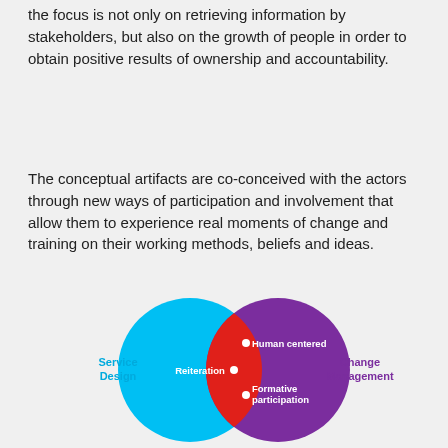the focus is not only on retrieving information by stakeholders, but also on the growth of people in order to obtain positive results of ownership and accountability.
The conceptual artifacts are co-conceived with the actors through new ways of participation and involvement that allow them to experience real moments of change and training on their working methods, beliefs and ideas.
[Figure (infographic): Venn diagram with two overlapping circles: left circle in cyan labeled 'Service Design', right circle in purple labeled 'Change Management'. The overlapping region is red/orange and contains three labeled points: 'Human centered' (top), 'Reiteration' (middle, in the cyan-left part of overlap), 'Formative participation' (bottom).]